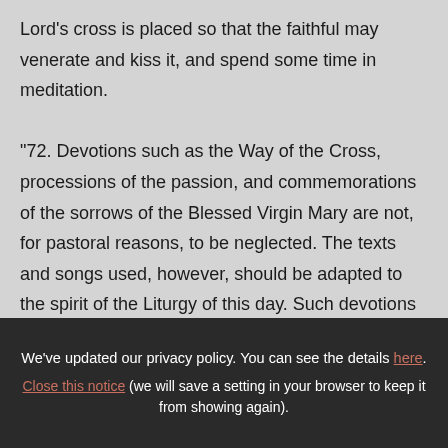Lord's cross is placed so that the faithful may venerate and kiss it, and spend some time in meditation.
"72. Devotions such as the Way of the Cross, processions of the passion, and commemorations of the sorrows of the Blessed Virgin Mary are not, for pastoral reasons, to be neglected. The texts and songs used, however, should be adapted to the spirit of the Liturgy of this day. Such devotions
We've updated our privacy policy. You can see the details here. Close this notice (we will save a setting in your browser to keep it from showing again).